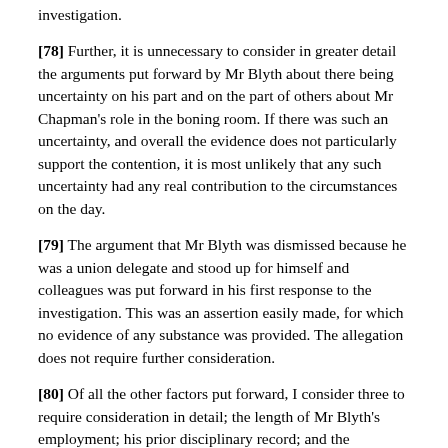investigation.
[78] Further, it is unnecessary to consider in greater detail the arguments put forward by Mr Blyth about there being uncertainty on his part and on the part of others about Mr Chapman’s role in the boning room. If there was such an uncertainty, and overall the evidence does not particularly support the contention, it is most unlikely that any such uncertainty had any real contribution to the circumstances on the day.
[79] The argument that Mr Blyth was dismissed because he was a union delegate and stood up for himself and colleagues was put forward in his first response to the investigation. This was an assertion easily made, for which no evidence of any substance was provided. The allegation does not require further consideration.
[80] Of all the other factors put forward, I consider three to require consideration in detail; the length of Mr Blyth’s employment; his prior disciplinary record; and the explanations of his actions being a “split second impulse” and the “practical method of training”.
[81] The remainder are either not supported in the evidence as being relevant to Mr Blyth’s conduct or are features of what